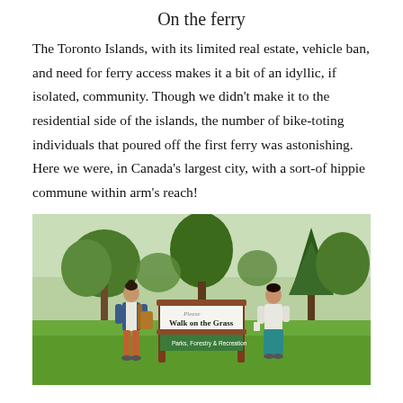On the ferry
The Toronto Islands, with its limited real estate, vehicle ban, and need for ferry access makes it a bit of an idyllic, if isolated, community. Though we didn't make it to the residential side of the islands, the number of bike-toting individuals that poured off the first ferry was astonishing. Here we were, in Canada's largest city, with a sort-of hippie commune within arm's reach!
[Figure (photo): Two women posing beside a park sign reading 'Please Walk on the Grass – Parks, Forestry & Recreation', surrounded by green grass and trees in a park on Toronto Islands.]